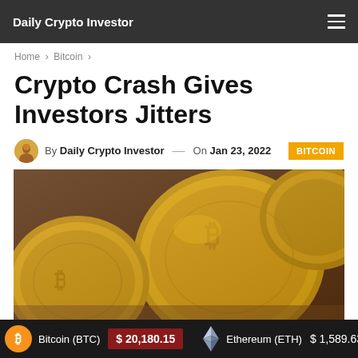Daily Crypto Investor
Home > Bitcoin >
Crypto Crash Gives Investors Jitters
By Daily Crypto Investor — On Jan 23, 2022 | BITCOIN
[Figure (photo): Close-up photograph of multiple gold Bitcoin coins piled together showing the Bitcoin symbol]
Bitcoin (BTC) $20,180.15 Ethereum (ETH) $1,589.63